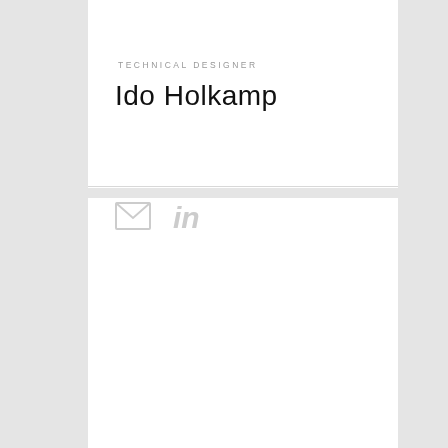TECHNICAL DESIGNER
Ido Holkamp
[Figure (other): Email envelope icon and LinkedIn 'in' icon in light gray]